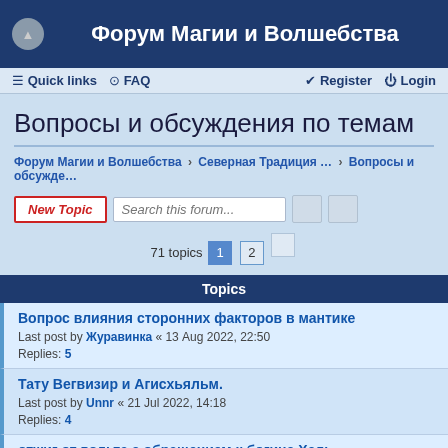Форум Магии и Волшебства
Quick links  FAQ  Register  Login
Вопросы и обсуждения по темам
Форум Магии и Волшебства › Северная Традиция … › Вопросы и обсужде…
New Topic  Search this forum...  71 topics  1  2
Topics
Вопрос влияния сторонних факторов в мантике
Last post by Журавинка « 13 Aug 2022, 22:50
Replies: 5
Тату Вегвизир и Агисхьяльм.
Last post by Unnr « 21 Jul 2022, 14:18
Replies: 4
отжиг от вольта с обращением к богине Хель
Last post by Unnr « 21 Jun 2022, 19:05
Replies: 4
Вышитые руны
Last post by Glamour « 12 Jun 2022, 19:37